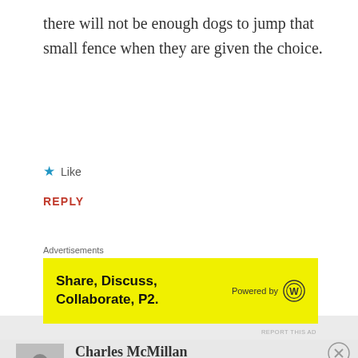there will not be enough dogs to jump that small fence when they are given the choice.
★ Like
REPLY
Advertisements
[Figure (screenshot): Yellow advertisement banner with text 'Share, Discuss, Collaborate, P2.' and 'Powered by' WordPress logo]
REPORT THIS AD
Charles McMillan
MARCH 8, 2019 - FRIDAY AT 11:23
Advertisements